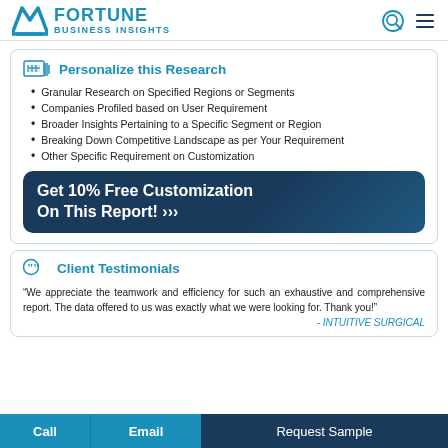FORTUNE BUSINESS INSIGHTS
Personalize this Research
Granular Research on Specified Regions or Segments
Companies Profiled based on User Requirement
Broader Insights Pertaining to a Specific Segment or Region
Breaking Down Competitive Landscape as per Your Requirement
Other Specific Requirement on Customization
Get 10% Free Customization On This Report! >>>
Client Testimonials
“We appreciate the teamwork and efficiency for such an exhaustive and comprehensive report. The data offered to us was exactly what we were looking for. Thank you!”
- INTUITIVE SURGICAL
Call | Email | Request Sample